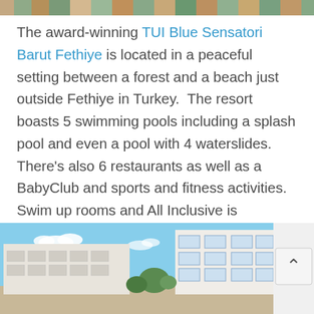[Figure (photo): Partial top strip of a photo showing a colorful resort or beach scene]
The award-winning TUI Blue Sensatori Barut Fethiye is located in a peaceful setting between a forest and a beach just outside Fethiye in Turkey.  The resort boasts 5 swimming pools including a splash pool and even a pool with 4 waterslides.  There's also 6 restaurants as well as a BabyClub and sports and fitness activities.  Swim up rooms and All Inclusive is available.  Don't miss a trip to Fethiye on the resort's shuttle boat!
[Figure (photo): Photo of the TUI Blue Sensatori Barut Fethiye hotel exterior showing white multi-storey building with balconies under a blue sky]